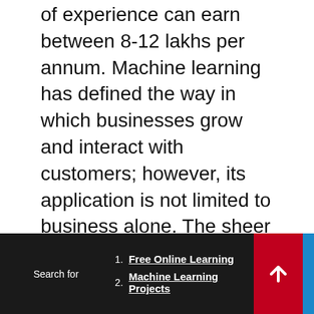of experience can earn between 8-12 lakhs per annum. Machine learning has defined the way in which businesses grow and interact with customers; however, its application is not limited to business alone. The sheer abundance of data and the need of personalisation has made machine learning a desired skill in almost every professional role. In a world which is increasingly being driven by data, machine learning is the perfect solution for anyone who wishes to stay relevant in their field.
[Figure (infographic): Social sharing icons: Facebook, Twitter, LinkedIn, Email, WhatsApp, Flipboard, Gmail, Share]
Search for  1. Free Online Learning  2. Machine Learning Projects